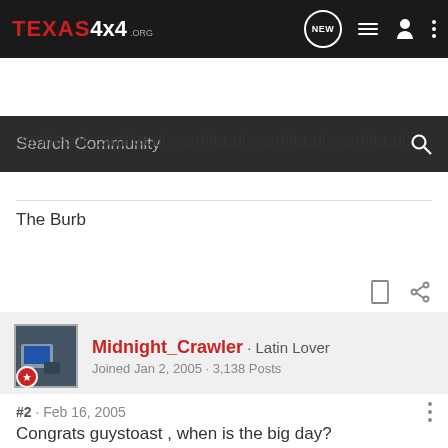TEXAS4x4 .ORG — navigation bar with search
:smilecol: :smilecol: :smilecol: :smilecol: :smilecol:
The Burb
Midnight_Crawler · Latin Lover
Joined Jan 2, 2005 · 3,138 Posts
#2 · Feb 16, 2005
Congrats guystoast , when is the big day?